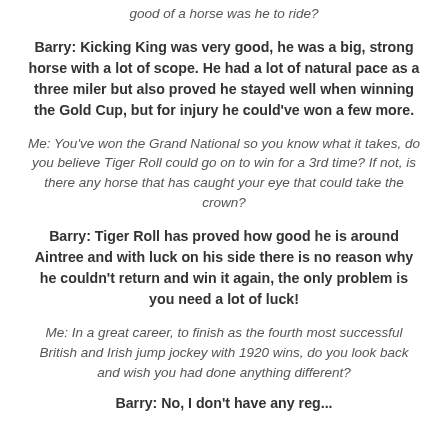good of a horse was he to ride?
Barry: Kicking King was very good, he was a big, strong horse with a lot of scope. He had a lot of natural pace as a three miler but also proved he stayed well when winning the Gold Cup, but for injury he could've won a few more.
Me: You've won the Grand National so you know what it takes, do you believe Tiger Roll could go on to win for a 3rd time? If not, is there any horse that has caught your eye that could take the crown?
Barry: Tiger Roll has proved how good he is around Aintree and with luck on his side there is no reason why he couldn't return and win it again, the only problem is you need a lot of luck!
Me: In a great career, to finish as the fourth most successful British and Irish jump jockey with 1920 wins, do you look back and wish you had done anything different?
Barry: No, I don't have any regrets, I think I had the best time of my life...